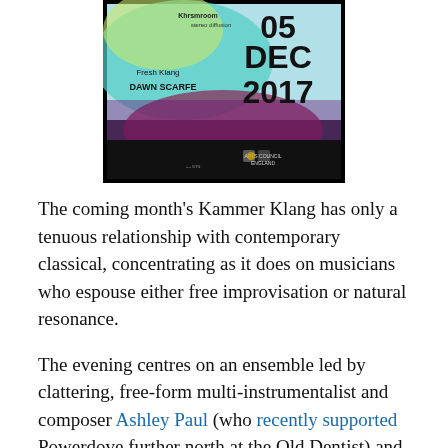[Figure (photo): Event poster for Kammer Klang on 05 DEC 2017, featuring colorful abstract background with text: Khrsmroom stereo diffusion, Fresh Klang, DAWN SCARFE, 05 DEC 2017, Arts Council England logo]
The coming month's Kammer Klang has only a tenuous relationship with contemporary classical, concentrating as it does on musicians who espouse either free improvisation or natural resonance.
The evening centres on an ensemble led by clattering, free-form multi-instrumentalist and composer Ashley Paul (who recently supported Powerdove further north at the Old Dentist) and featuring Hyperion Ensemble bass clarinettist/utility person Yoni Silver, cellist/Kammer Klang...